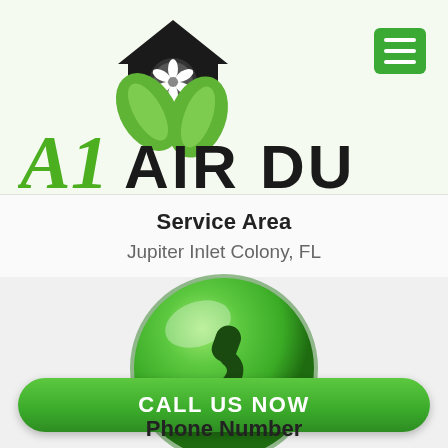[Figure (logo): A1 Air Duct logo with house/fan/leaf icon and italic A1 in green followed by bold AIR DUCT in black]
[Figure (other): Green hamburger menu button with three white horizontal lines]
Service Area
Jupiter Inlet Colony, FL
[Figure (other): Green glossy sphere button with a phone handset icon]
CALL US NOW
Phone Number